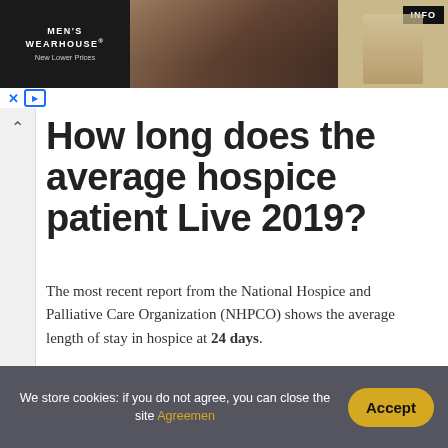[Figure (photo): Men's Wearhouse advertisement banner showing a couple in formal wear and a man in a tan suit, with 'New Lower Prices' tagline and an INFO button]
How long does the average hospice patient Live 2019?
The most recent report from the National Hospice and Palliative Care Organization (NHPCO) shows the average length of stay in hospice at 24 days.
Who determines
We store cookies: if you do not agree, you can close the site Agreemen